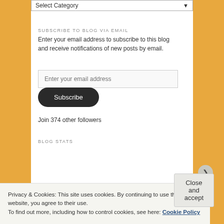[Figure (screenshot): Dropdown select box showing 'Select Category' with a down arrow]
SUBSCRIBE TO BLOG VIA EMAIL
Enter your email address to subscribe to this blog and receive notifications of new posts by email.
[Figure (screenshot): Email input field placeholder: Enter your email address]
[Figure (screenshot): Subscribe button (dark rounded pill button)]
Join 374 other followers
BLOG STATS
Privacy & Cookies: This site uses cookies. By continuing to use this website, you agree to their use.
To find out more, including how to control cookies, see here: Cookie Policy
[Figure (screenshot): Close and accept button]